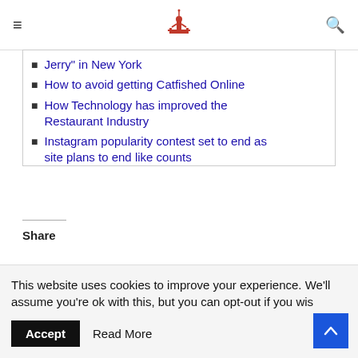[Logo] [Hamburger menu] [Search icon]
Jerry" in New York
How to avoid getting Catfished Online
How Technology has improved the Restaurant Industry
Instagram popularity contest set to end as site plans to end like counts
3 Challenges In Meeting Today's Digital Demand
Share
This website uses cookies to improve your experience. We'll assume you're ok with this, but you can opt-out if you wish
Accept   Read More